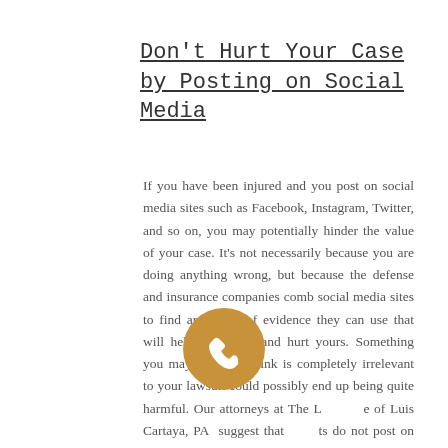Don't Hurt Your Case by Posting on Social Media
If you have been injured and you post on social media sites such as Facebook, Instagram, Twitter, and so on, you may potentially hinder the value of your case. It's not necessarily because you are doing anything wrong, but because the defense and insurance companies comb social media sites to find any piece of evidence they can use that will help their case and hurt yours. Something you may post and think is completely irrelevant to your lawsuit could possibly end up being quite harmful. Our attorneys at The [Law Office] of Luis Cartaya, PA suggest that [clients] do not post on social media about your injuries, your state
[Figure (illustration): Orange circular phone button icon overlaid on the text]